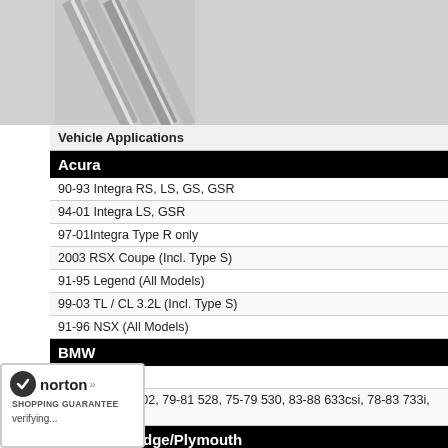[Figure (photo): Partial photo of what appears to be metal rods or automotive parts, shown at top of page]
| Vehicle Applications |
| --- |
| Acura |
| 90-93 Integra RS, LS, GS, GSR |
| 94-01 Integra LS, GSR |
| 97-01Integra Type R only |
| 2003 RSX Coupe (Incl. Type S) |
| 91-95 Legend (All Models) |
| 99-03 TL / CL 3.2L (Incl. Type S) |
| 91-96 NSX (All Models) |
| BMW |
| 83-95 318i |
| 69-76 BMW 2002, 79-81 528, 75-79 530, 83-88 633csi, 78-83 733i, 78-83 735 |
| Chrysler/Dodge/Plymouth |
| 90-94 Eagle Talon (FWD) |
| 90-94 Plymouth Laser (FWD) |
| 91-96 Dodge Stealth |
| 01-03 PT Cruiser 4 Wheel Disc & ABS |
| 01-03 PT Cruiser (Rear drum) |
| ... Neon (Rear Drum) |
| ... (Rear Drum) |
[Figure (logo): Norton Shopping Guarantee badge with checkmark, showing 'verifying...' text]